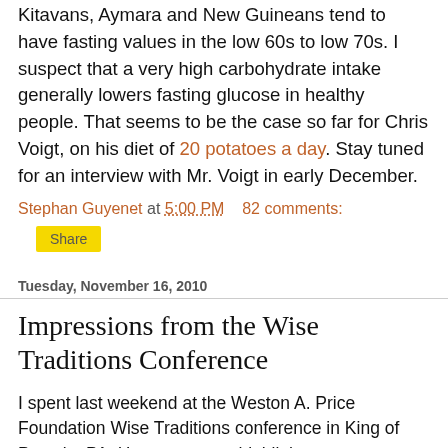Kitavans, Aymara and New Guineans tend to have fasting values in the low 60s to low 70s. I suspect that a very high carbohydrate intake generally lowers fasting glucose in healthy people. That seems to be the case so far for Chris Voigt, on his diet of 20 potatoes a day. Stay tuned for an interview with Mr. Voigt in early December.
Stephan Guyenet at 5:00 PM    82 comments:
Share
Tuesday, November 16, 2010
Impressions from the Wise Traditions Conference
I spent last weekend at the Weston A. Price Foundation Wise Traditions conference in King of Prussia, PA. Here are some highlights:
Spending time with several people in the diet-health community who I've been wanting to meet in person.